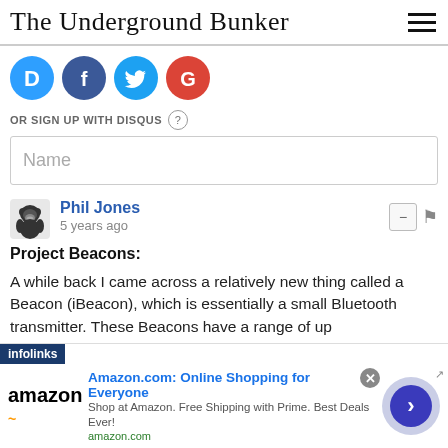The Underground Bunker
[Figure (logo): Social login icons: Disqus (blue D), Facebook (dark blue f), Twitter (light blue bird), Google (red G)]
OR SIGN UP WITH DISQUS ?
Name
Phil Jones
5 years ago
Project Beacons:
A while back I came across a relatively new thing called a Beacon (iBeacon), which is essentially a small Bluetooth transmitter. These Beacons have a range of up
[Figure (infographic): Infolinks ad banner overlaying content. Amazon.com advertisement: 'Amazon.com: Online Shopping for Everyone' - Shop at Amazon. Free Shipping with Prime. Best Deals Ever! amazon.com. Navigation arrow circle on right side.]